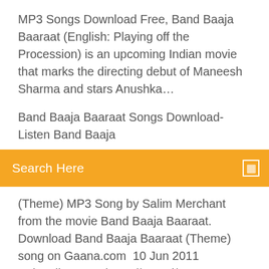MP3 Songs Download Free, Band Baaja Baaraat (English: Playing off the Procession) is an upcoming Indian movie that marks the directing debut of Maneesh Sharma and stars Anushka…
Band Baaja Baaraat Songs Download- Listen Band Baaja
Search Here
(Theme) MP3 Song by Salim Merchant from the movie Band Baaja Baaraat. Download Band Baaja Baaraat (Theme) song on Gaana.com  10 Jun 2011 Subscribe Now: https://goo.gl/xs3mrY Stay updated! The peppiest wedding dance number of the season! Have you heard it yet? Watch the  21 Aug 2015 This list has sangeet songs, mehendi songs, baaraat entrance songs, vidaai songs, indian bride's. Image Courtesy: Band Baaja Baaraat. 1) Tum Se. Now you can download BollywoodShaadis app and never miss a story. Band Baaja Baaraat is a 2010 Bollywood romantic comedy film starring Ranveer Singh and